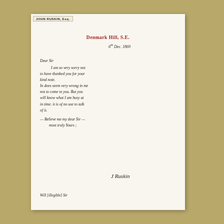[Figure (photo): Handwritten letter from John Ruskin on aged white paper, mounted against a gold/tan textured background.]
JOHN RUSKIN, Esq.
Denmark Hill, S.E.
6th Dec. 1869
Dear Sir
    I am so very sorry not to have thanked you for your kind note.
In does seem very wrong in me not to come to you. But you will know what I am busy at in time. it is of no use to talk of it.
- Believe me my dear Sir -
most truly Yours ;
J Ruskin
Will [illegible] Sir